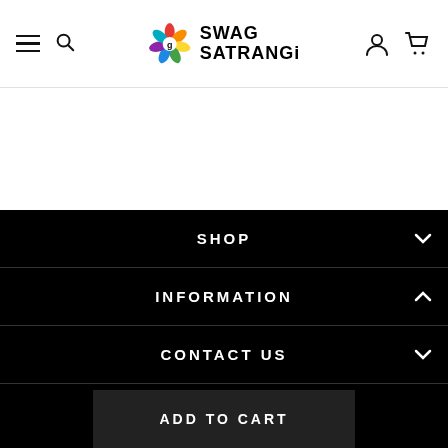Swag Satrangi — Navigation header with hamburger menu, search, logo, user and cart icons
SHOP
INFORMATION
CONTACT US
STAY CONNECTED
[Figure (other): Social media icons: Facebook, Twitter, Instagram]
ADD TO CART